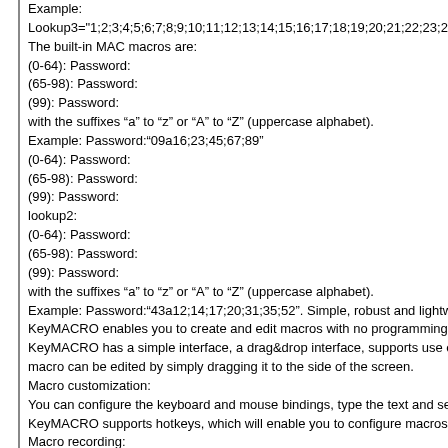Example:
Lookup3="1;2;3;4;5;6;7;8;9;10;11;12;13;14;15;16;17;18;19;20;21;22;23;24;2
The built-in MAC macros are:
(0-64): Password:
(65-98): Password:
(99): Password:
with the suffixes “a” to “z” or “A” to “Z” (uppercase alphabet).
Example: Password:"09a16;23;45;67;89"
(0-64): Password:
(65-98): Password:
(99): Password:
lookup2:
(0-64): Password:
(65-98): Password:
(99): Password:
with the suffixes “a” to “z” or “A” to “Z” (uppercase alphabet).
Example: Password:"43a12;14;17;20;31;35;52". Simple, robust and lightweig
KeyMACRO enables you to create and edit macros with no programming skil
KeyMACRO has a simple interface, a drag&drop interface, supports use of ke
macro can be edited by simply dragging it to the side of the screen.
Macro customization:
You can configure the keyboard and mouse bindings, type the text and select t
KeyMACRO supports hotkeys, which will enable you to configure macros wi
Macro recording:
You can record keyboard and mouse actions and mouse clicks, create and edit
Support for all languages:
You can use macros in English, German, French, Spanish, Japanese, Korean, C
KeyMACRO is not a replacement for an existing macro software. It just suppe
What’s New
2.00
Added export features to the toolbar to let you save your own macros to the